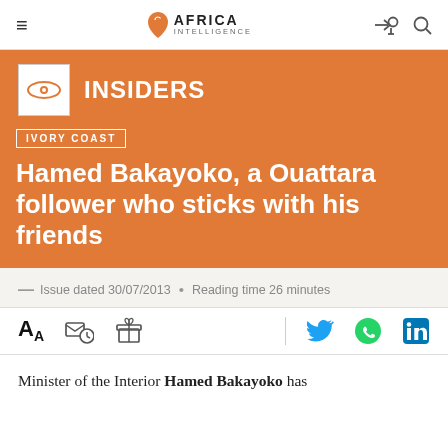AFRICA INTELLIGENCE
INSIDERS
IVORY COAST
Hamed Bakayoko, a Ouattara follower who sticks with his friends
Issue dated 30/07/2013 • Reading time 26 minutes
Minister of the Interior Hamed Bakayoko has